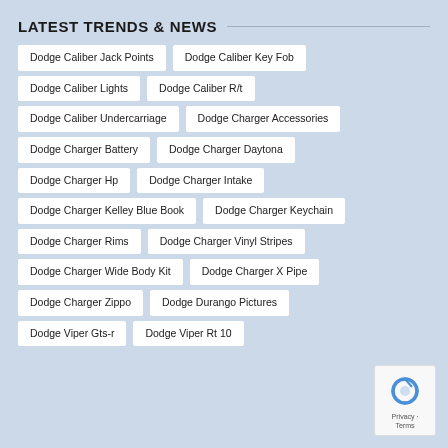LATEST TRENDS & NEWS
Dodge Caliber Jack Points
Dodge Caliber Key Fob
Dodge Caliber Lights
Dodge Caliber R/t
Dodge Caliber Undercarriage
Dodge Charger Accessories
Dodge Charger Battery
Dodge Charger Daytona
Dodge Charger Hp
Dodge Charger Intake
Dodge Charger Kelley Blue Book
Dodge Charger Keychain
Dodge Charger Rims
Dodge Charger Vinyl Stripes
Dodge Charger Wide Body Kit
Dodge Charger X Pipe
Dodge Charger Zippo
Dodge Durango Pictures
Dodge Viper Gts-r
Dodge Viper Rt 10